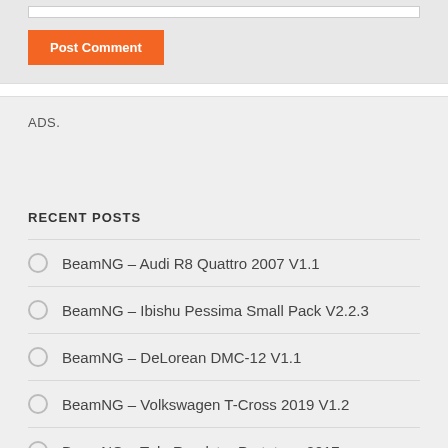Post Comment
ADS.
RECENT POSTS
BeamNG – Audi R8 Quattro 2007 V1.1
BeamNG – Ibishu Pessima Small Pack V2.2.3
BeamNG – DeLorean DMC-12 V1.1
BeamNG – Volkswagen T-Cross 2019 V1.2
BeamNG – Tula Roadster Prototype 2017